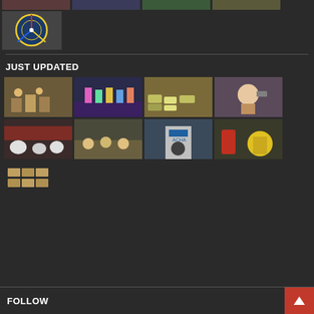[Figure (photo): Partial top strip showing thumbnails of various news images, partially cropped at top]
[Figure (photo): Logo thumbnail: circular emblem on vehicle, possibly police or government logo]
JUST UPDATED
[Figure (photo): Grid of 9 news thumbnail images: outdoor event, stage performance with colorful costumes, traffic/vehicles aerial view, person with camera/microphone, sheep/livestock, group indoor meeting, masked officer in front of ACHA sign, decorative items red/yellow, rows of small items on display]
FOLLOW